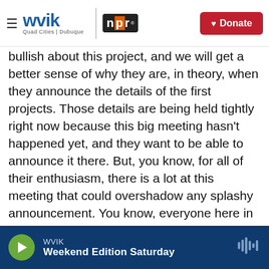WVIK | NPR | Quad Cities | Dubuque | Donate
bullish about this project, and we will get a better sense of why they are, in theory, when they announce the details of the first projects. Those details are being held tightly right now because this big meeting hasn't happened yet, and they want to be able to announce it there. But, you know, for all of their enthusiasm, there is a lot at this meeting that could overshadow any splashy announcement. You know, everyone here in the U.S. is waiting for the Supreme Court to hand down its decision in a case that could overturn Roe v. Wade, and if that happens while the president is overseas, that's all anyone will be talking about.
WVIK | Weekend Edition Saturday